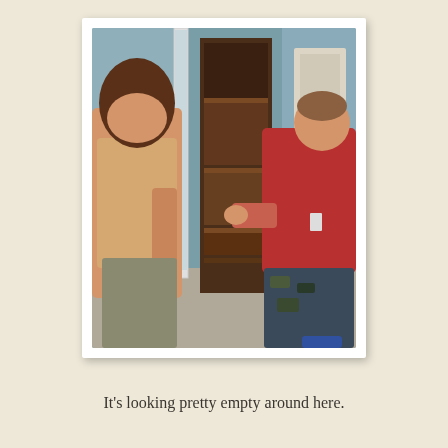[Figure (photo): Two people moving a large wooden bookcase or entertainment center through a hallway. One person wears a beige/tan t-shirt and is on the left, the other wears a red t-shirt and dark camo pants on the right. The furniture piece is tall and dark brown with visible shelves.]
It's looking pretty empty around here.